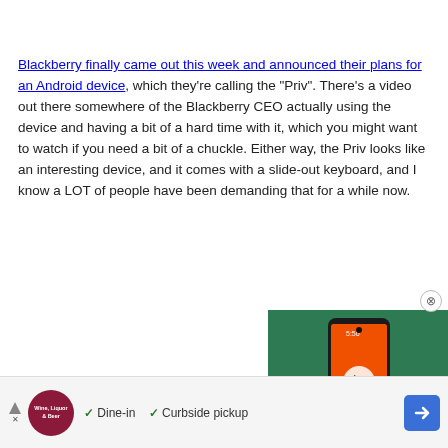Blackberry finally came out this week and announced their plans for an Android device, which they're calling the "Priv". There's a video out there somewhere of the Blackberry CEO actually using the device and having a bit of a hard time with it, which you might want to watch if you need a bit of a chuckle. Either way, the Priv looks like an interesting device, and it comes with a slide-out keyboard, and I know a LOT of people have been demanding that for a while now.
[Figure (screenshot): Embedded video thumbnail showing a smartphone with text 'VILLAIN?' overlaid and a play button]
[Figure (infographic): Advertisement bar with Wine Liquor & Beer logo, checkmarks for Dine-in and Curbside pickup, and a blue navigation arrow icon]